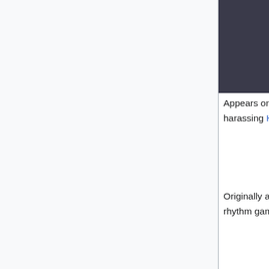[Figure (illustration): Comic-style illustration of a character in a pink shirt with a design on it, arms raised, with dark background. Partial image showing upper body.]
Appears on Chapter 25: Wicked Influence, Page 28 harassing Hulk. He is killed by Hulk throwing a rock at him.
Originally appears as the protagonist of Friday Night Funkin', a rhythm game released in November 2020.
Captain Olimar
[Figure (illustration): Comic-style image of Captain Olimar character with a large nose, grinning expression, with speech bubble text: 'I had a dirty crack needle on mine, now I have an std! God, i love Cereal Roulette!']
Appears on Chapter 25: Wicked Influence, Page 27. He is shown to be a fan of Troll City's cereal roulette and contracts an STD from a used needle found in his box.